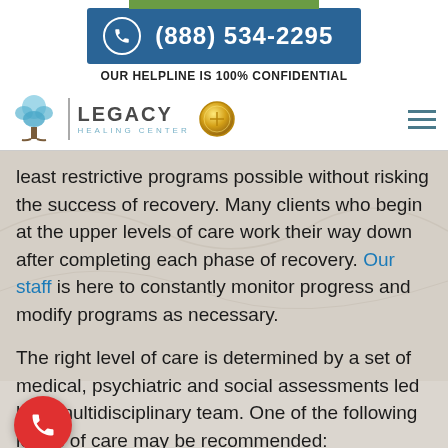(888) 534-2295
OUR HELPLINE IS 100% CONFIDENTIAL
[Figure (logo): Legacy Healing Center logo with tree icon, vertical divider, LEGACY HEALING CENTER text, gold medal badge, and hamburger menu icon]
least restrictive programs possible without risking the success of recovery. Many clients who begin at the upper levels of care work their way down after completing each phase of recovery. Our staff is here to constantly monitor progress and modify programs as necessary.
The right level of care is determined by a set of medical, psychiatric and social assessments led by a multidisciplinary team. One of the following levels of care may be recommended: